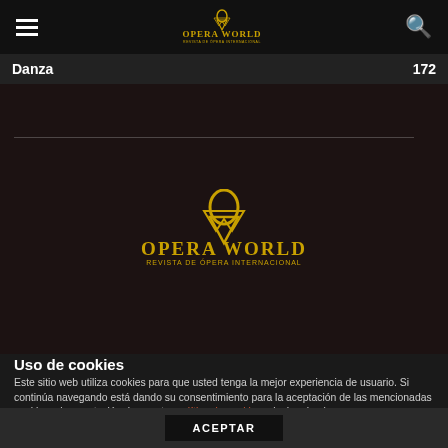[Figure (logo): Opera World - Revista de Ópera Internacional logo in gold on black, top navigation bar with hamburger menu and search icon]
Danza   172
[Figure (logo): Large Opera World logo centered on dark background with gold OW symbol and text 'Opera World - Revista de Ópera Internacional']
Uso de cookies
Este sitio web utiliza cookies para que usted tenga la mejor experiencia de usuario. Si continúa navegando está dando su consentimiento para la aceptación de las mencionadas cookies y la aceptación de nuestra política de cookies, pinche el enlace para mayor información.
plugin cookies
ACEPTAR